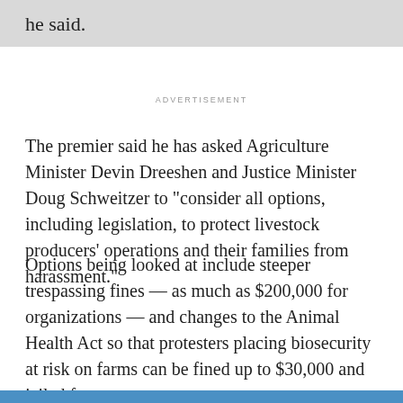he said.
ADVERTISEMENT
The premier said he has asked Agriculture Minister Devin Dreeshen and Justice Minister Doug Schweitzer to "consider all options, including legislation, to protect livestock producers' operations and their families from harassment."
Options being looked at include steeper trespassing fines — as much as $200,000 for organizations — and changes to the Animal Health Act so that protesters placing biosecurity at risk on farms can be fined up to $30,000 and jailed for a year.